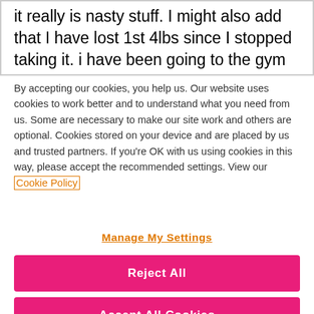it really is nasty stuff. I might also add that I have lost 1st 4lbs since I stopped taking it. i have been going to the gym regularly and eating a very healthy diet for the whole of the last year, but I
By accepting our cookies, you help us. Our website uses cookies to work better and to understand what you need from us. Some are necessary to make our site work and others are optional. Cookies stored on your device and are placed by us and trusted partners. If you're OK with us using cookies in this way, please accept the recommended settings. View our Cookie Policy
Manage My Settings
Reject All
Accept All Cookies